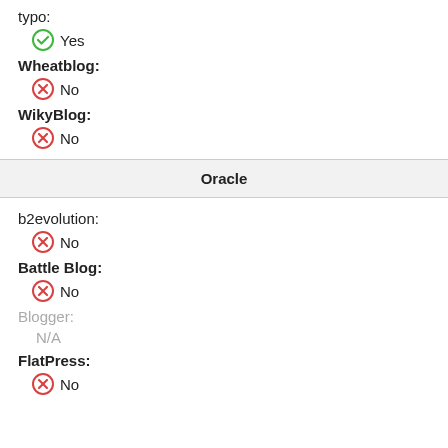typo:
Yes
Wheatblog:
No
WikyBlog:
No
Oracle
b2evolution:
No
Battle Blog:
No
Blogger:
N/A
FlatPress:
No